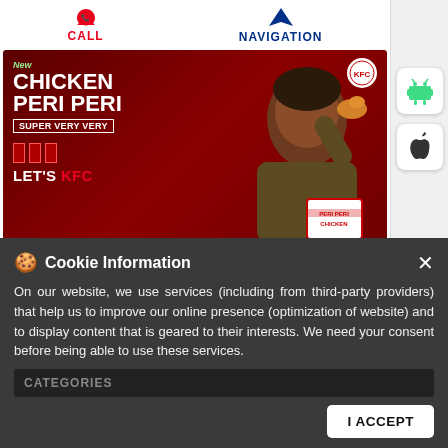[Figure (screenshot): KFC website screenshot showing CALL and NAVIGATION buttons at top, KFC Chicken Peri Peri advertisement banner, nearest KFC 100m indicator, app download buttons for Android and iOS, and a cookie information consent overlay at the bottom.]
CALL
NAVIGATION
[Figure (photo): KFC advertisement showing man eating Chicken Peri Peri with text: New CHICKEN PERI PERI SUPER VERY VERY LET'S KFC, with KFC logo and bucket of peri peri chicken]
NEAREST KFC 100m →
Cookie Information
On our website, we use services (including from third-party providers) that help us to improve our online presence (optimization of website) and to display content that is geared to their interests. We need your consent before being able to use these services.
CATEGORIES
Restaurant
Chicken Restaurant